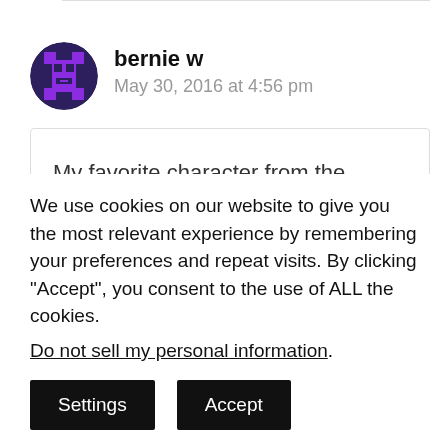[Figure (illustration): Purple pixel-art avatar icon for user bernie w, circular shape with dark navy background]
bernie w
May 30, 2016 at 4:56 pm
My favorite character from the Shrek movie is Gigi the Gingerbread man. Thanks for the giveaway. My family
We use cookies on our website to give you the most relevant experience by remembering your preferences and repeat visits. By clicking “Accept”, you consent to the use of ALL the cookies.
Do not sell my personal information.
Settings
Accept